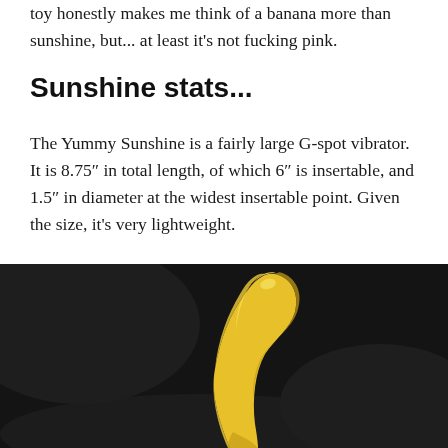toy honestly makes me think of a banana more than sunshine, but... at least it's not fucking pink.
Sunshine stats...
The Yummy Sunshine is a fairly large G-spot vibrator. It is 8.75″ in total length, of which 6″ is insertable, and 1.5″ in diameter at the widest insertable point. Given the size, it's very lightweight.
[Figure (photo): A yellow curved G-spot vibrator photographed against a dark fabric background. The toy is banana-yellow in color with a smooth finish and curved tip.]